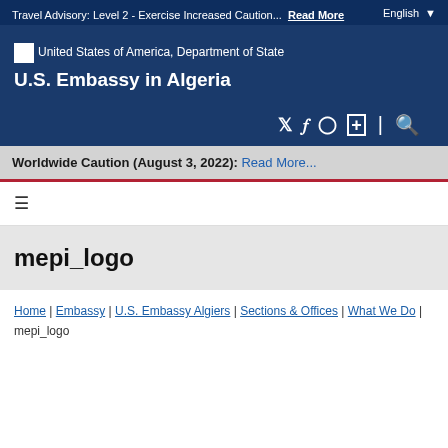Travel Advisory: Level 2 - Exercise Increased Caution...  Read More  English
United States of America, Department of State
U.S. Embassy in Algeria
Worldwide Caution (August 3, 2022): Read More...
[Figure (other): Hamburger menu icon (three horizontal lines)]
mepi_logo
Home | Embassy | U.S. Embassy Algiers | Sections & Offices | What We Do | mepi_logo